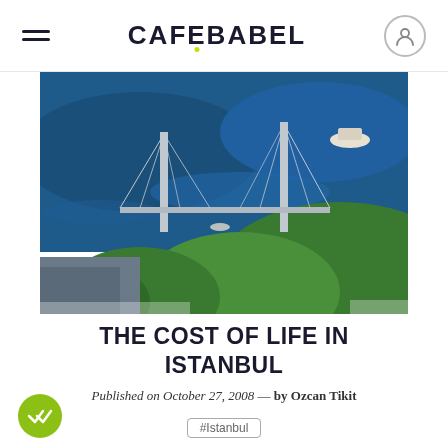CAFEBABEL
[Figure (photo): Aerial view of Istanbul showing the Bosphorus Bridge (Boğaziçi Köprüsü) spanning the strait, with deep blue water, suspension cables, and green hills on the European and Asian sides.]
THE COST OF LIFE IN ISTANBUL
Published on October 27, 2008 — by Ozcan Tikit
#Istanbul